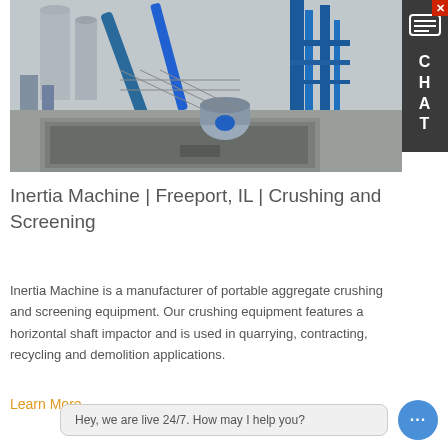[Figure (photo): Industrial facility with blue metal structures, conveyors, storage silos, and a concrete basin in the foreground. Heavy aggregate/crushing plant machinery visible.]
Inertia Machine | Freeport, IL | Crushing and Screening
Inertia Machine is a manufacturer of portable aggregate crushing and screening equipment. Our crushing equipment features a horizontal shaft impactor and is used in quarrying, contracting, recycling and demolition applications.
Learn More
Hey, we are live 24/7. How may I help you?